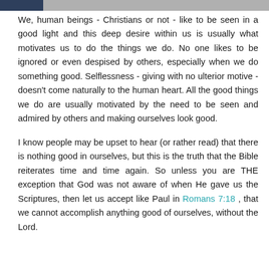We, human beings - Christians or not - like to be seen in a good light and this deep desire within us is usually what motivates us to do the things we do. No one likes to be ignored or even despised by others, especially when we do something good. Selflessness - giving with no ulterior motive - doesn't come naturally to the human heart. All the good things we do are usually motivated by the need to be seen and admired by others and making ourselves look good.
I know people may be upset to hear (or rather read) that there is nothing good in ourselves, but this is the truth that the Bible reiterates time and time again. So unless you are THE exception that God was not aware of when He gave us the Scriptures, then let us accept like Paul in Romans 7:18 , that we cannot accomplish anything good of ourselves, without the Lord.